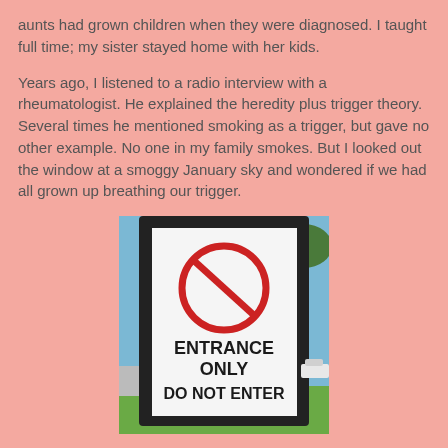aunts had grown children when they were diagnosed. I taught full time; my sister stayed home with her kids.
Years ago, I listened to a radio interview with a rheumatologist. He explained the heredity plus trigger theory. Several times he mentioned smoking as a trigger, but gave no other example. No one in my family smokes. But I looked out the window at a smoggy January sky and wondered if we had all grown up breathing our trigger.
[Figure (photo): A photograph of a white road sign mounted in a black rectangular frame, outdoors on a sunny day. The sign shows a red circle-slash (no entry) symbol at the top, and below reads 'ENTRANCE ONLY DO NOT ENTER' in bold black text. Background shows green grass, trees, and a blue sky.]